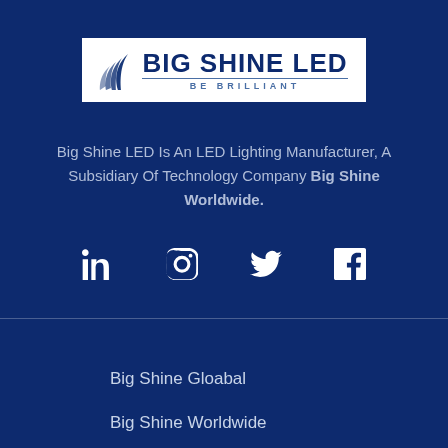[Figure (logo): Big Shine LED logo with leaf/wave icon and 'BE BRILLIANT' tagline on white background]
Big Shine LED Is An LED Lighting Manufacturer, A Subsidiary Of Technology Company Big Shine Worldwide.
[Figure (infographic): Social media icons: LinkedIn, Instagram, Twitter, Facebook]
Big Shine Gloabal
Big Shine Worldwide
Big Shine Energy